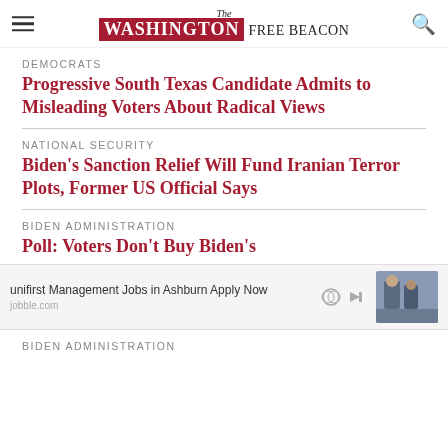The Washington Free Beacon
DEMOCRATS
Progressive South Texas Candidate Admits to Misleading Voters About Radical Views
NATIONAL SECURITY
Biden's Sanction Relief Will Fund Iranian Terror Plots, Former US Official Says
BIDEN ADMINISTRATION
Poll: Voters Don't Buy Biden's
[Figure (photo): Advertisement image showing two people in what appears to be a workplace or store setting, for Unifirst Management Jobs in Ashburn]
BIDEN ADMINISTRATION